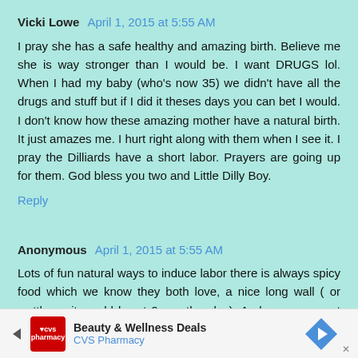Vicki Lowe April 1, 2015 at 5:55 AM
I pray she has a safe healthy and amazing birth. Believe me she is way stronger than I would be. I want DRUGS lol. When I had my baby (who's now 35) we didn't have all the drugs and stuff but if I did it theses days you can bet I would. I don't know how these amazing mother have a natural birth. It just amazes me. I hurt right along with them when I see it. I pray the Dilliards have a short labor. Prayers are going up for them. God bless you two and Little Dilly Boy.
Reply
Anonymous April 1, 2015 at 5:55 AM
Lots of fun natural ways to induce labor there is always spicy food which we know they both love, a nice long wall ( or wattle as it would be at 9 months plus). And one more not anrroprate to post. Good luck and exited to meet the
[Figure (other): CVS Pharmacy advertisement banner at bottom of page showing CVS logo, 'Beauty & Wellness Deals' text, 'CVS Pharmacy' subtitle, and a blue navigation arrow icon on the right]